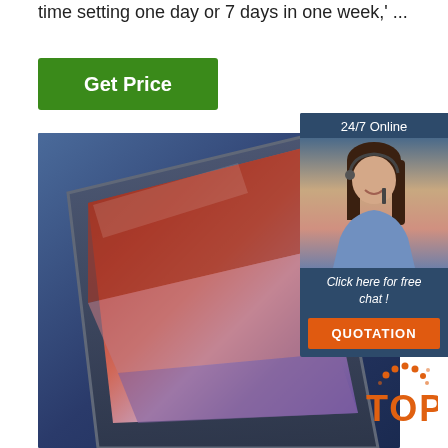time setting one day or 7 days in one week,' ...
[Figure (other): Green 'Get Price' button]
[Figure (photo): Photo of a tablet/laptop device with colorful display screen showing abstract canyon-like landscape in red, orange, purple tones against a dark blue background]
[Figure (other): 24/7 Online chat widget with photo of a woman wearing a headset, text 'Click here for free chat!' and orange QUOTATION button]
[Figure (logo): Orange 'TOP' badge logo with dot arc above letters]